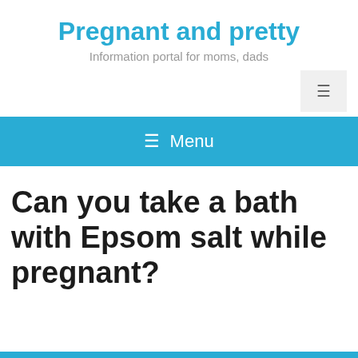Pregnant and pretty
Information portal for moms, dads
≡ Menu
Can you take a bath with Epsom salt while pregnant?